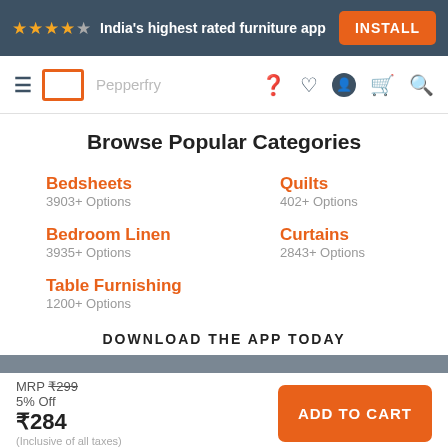★★★★☆ India's highest rated furniture app  INSTALL
≡ [logo] Pepperfry ? ♡ 👤 🛒 🔍
Browse Popular Categories
Bedsheets
3903+ Options
Quilts
402+ Options
Bedroom Linen
3935+ Options
Curtains
2843+ Options
Table Furnishing
1200+ Options
DOWNLOAD THE APP TODAY
MRP ₹299
5% Off
₹284
(Inclusive of all taxes)
ADD TO CART